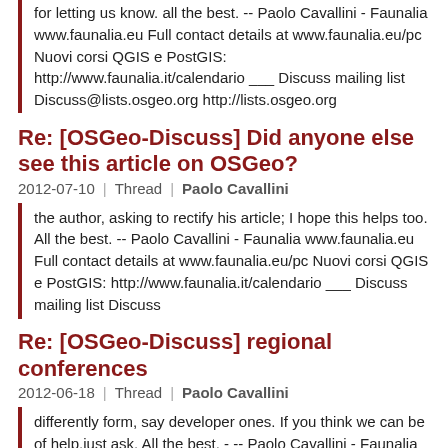for letting us know. all the best. -- Paolo Cavallini - Faunalia www.faunalia.eu Full contact details at www.faunalia.eu/pc Nuovi corsi QGIS e PostGIS: http://www.faunalia.it/calendario ___ Discuss mailing list Discuss@lists.osgeo.org http://lists.osgeo.org
Re: [OSGeo-Discuss] Did anyone else see this article on OSGeo?
2012-07-10 | Thread | Paolo Cavallini
the author, asking to rectify his article; I hope this helps too. All the best. -- Paolo Cavallini - Faunalia www.faunalia.eu Full contact details at www.faunalia.eu/pc Nuovi corsi QGIS e PostGIS: http://www.faunalia.it/calendario ___ Discuss mailing list Discuss
Re: [OSGeo-Discuss] regional conferences
2012-06-18 | Thread | Paolo Cavallini
differently form, say developer ones. If you think we can be of help,just ask. All the best. - -- Paolo Cavallini - Faunalia www.faunalia.eu Full contact details at www.faunalia.eu/pc Nuovi corsi: http://www.faunalia.it/calendario -BEGIN PGP SIGNATURE- Version: GnuPG v1.4.12 (GNU/Linux